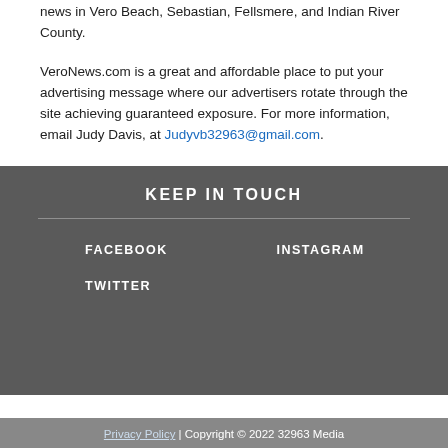gathering staff, and is the leading online source of local news in Vero Beach, Sebastian, Fellsmere, and Indian River County.
VeroNews.com is a great and affordable place to put your advertising message where our advertisers rotate through the site achieving guaranteed exposure. For more information, email Judy Davis, at Judyvb32963@gmail.com .
KEEP IN TOUCH
FACEBOOK
INSTAGRAM
TWITTER
Privacy Policy | Copyright © 2022 32963 Media